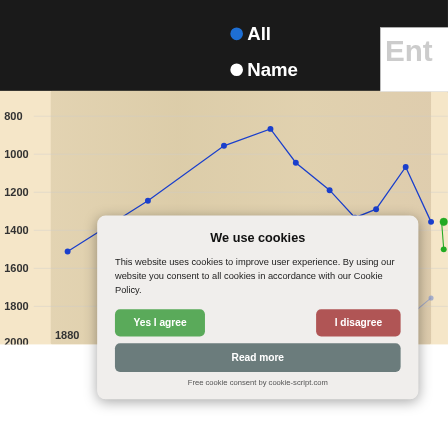[Figure (line-chart): Line chart showing baby name popularity rankings over time from 1880 to 2003, with y-axis showing rank (800 to 2000) inverted so lower rank number is higher. Multiple colored lines with dot markers. Partially obscured by cookie consent dialog.]
All
Name
We use cookies
This website uses cookies to improve user experience. By using our website you consent to all cookies in accordance with our Cookie Policy.
Yes I agree
I disagree
Read more
Free cookie consent by cookie-script.com